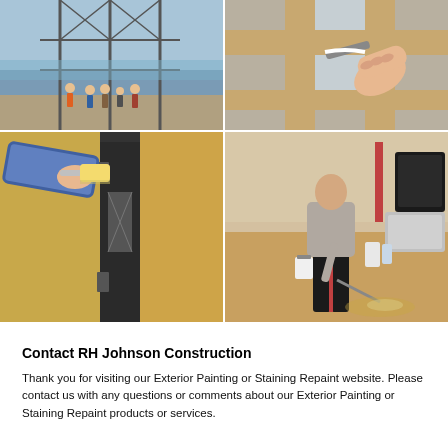[Figure (photo): 2x2 grid of construction and painting photos: top-left shows workers at a construction site with scaffolding, top-right shows a hand applying caulk or paint to a wooden window frame, bottom-left shows a hand with a paint roller painting near a door frame, bottom-right shows a person spraying paint on an interior floor.]
Contact RH Johnson Construction
Thank you for visiting our Exterior Painting or Staining Repaint website. Please contact us with any questions or comments about our Exterior Painting or Staining Repaint products or services.